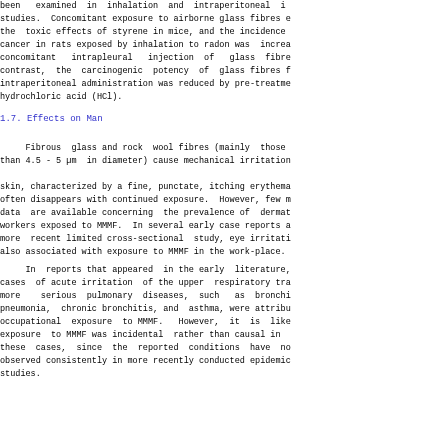been   examined  in  inhalation  and  intraperitoneal  i
studies.  Concomitant exposure to airborne glass fibres e
the  toxic effects of styrene in mice, and the incidence
cancer in rats exposed by inhalation to radon was  increa
concomitant   intrapleural   injection  of   glass  fibre
contrast,  the  carcinogenic  potency  of  glass fibres f
intraperitoneal administration was reduced by pre-treatme
hydrochloric acid (HCl).
1.7.   Effects on Man
Fibrous  glass and rock  wool fibres (mainly  those
than 4.5 - 5 µm  in diameter) cause mechanical irritation
skin, characterized by a fine, punctate, itching erythema
often disappears with continued exposure.  However, few m
data  are available concerning  the prevalence of  dermat
workers exposed to MMMF.  In several early case reports a
more  recent limited cross-sectional  study, eye irritati
also associated with exposure to MMMF in the work-place.
In  reports that appeared  in the early  literature,
cases  of acute irritation  of the upper  respiratory tra
more    serious  pulmonary  diseases,  such   as  bronchi
pneumonia,  chronic bronchitis, and  asthma, were attribu
occupational  exposure  to MMMF.   However,  it  is  like
exposure  to MMMF was incidental  rather than causal in
these  cases,  since  the  reported  conditions  have  no
observed consistently in more recently conducted epidemic
studies.